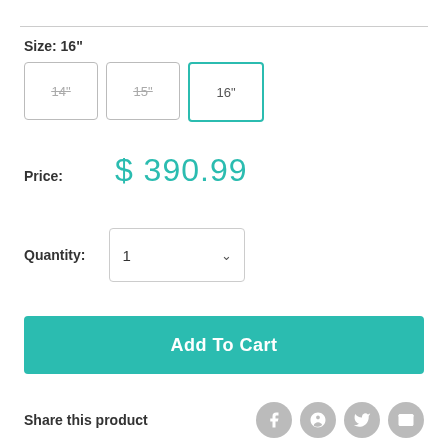Size: 16"
[Figure (screenshot): Size selector buttons showing 14", 15", and 16" options. 14" and 15" are grayed out with strikethrough text. 16" is selected with a teal border.]
Price: $ 390.99
Quantity: 1
Add To Cart
Share this product